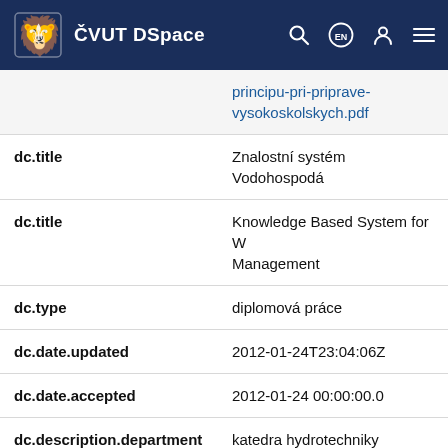ČVUT DSpace
| Field | Value |
| --- | --- |
|  | principu-pri-priprave-vysokoskolskych.pdf |
| dc.title | Znalostní systém Vodohospodá |
| dc.title | Knowledge Based System for W Management |
| dc.type | diplomová práce |
| dc.date.updated | 2012-01-24T23:04:06Z |
| dc.date.accepted | 2012-01-24 00:00:00.0 |
| dc.description.department | katedra hydrotechniky |
| theses.degree.name | Ing. |
| theses.degree.discipline | Vodní hospodářství a vodní sta |